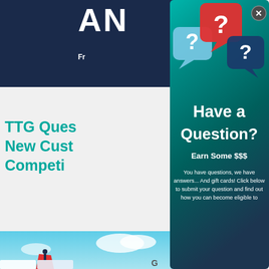[Figure (screenshot): Background website page with dark navy header showing partial letters 'AN' and teal/green text 'TTG Ques... New Cust... Competi...' and an illustration of a person on a red rock]
[Figure (infographic): Modal popup with teal/dark gradient background showing three speech bubble icons with question marks (light blue, red, dark blue), large white text 'Have a Question?', bold white text 'Earn Some $$$', and body text 'You have questions, we have answers... And gift cards! Click below to submit your question and find out how you can become eligible to']